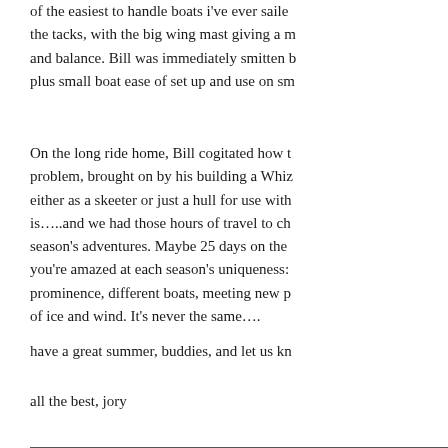of the easiest to handle boats i've ever sailed. the tacks, with the big wing mast giving a m and balance. Bill was immediately smitten b plus small boat ease of set up and use on sm
On the long ride home, Bill cogitated how t problem, brought on by his building a Whiz either as a skeeter or just a hull for use with is…..and we had those hours of travel to ch season's adventures. Maybe 25 days on the you're amazed at each season's uniqueness: prominence, different boats, meeting new p of ice and wind. It's never the same….
have a great summer, buddies, and let us kn
all the best, jory